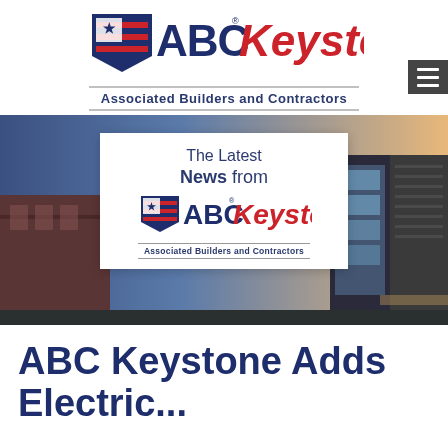[Figure (logo): ABC Keystone Associated Builders and Contractors logo with American flag shield and red Keystone text]
[Figure (photo): Hero banner showing a modern commercial building at dusk with blue sky, overlaid with a white card containing The Latest News from ABC Keystone Associated Builders and Contractors]
ABC Keystone Adds Electric...